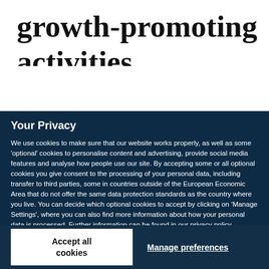growth-promoting
activities
Your Privacy
We use cookies to make sure that our website works properly, as well as some ‘optional’ cookies to personalise content and advertising, provide social media features and analyse how people use our site. By accepting some or all optional cookies you give consent to the processing of your personal data, including transfer to third parties, some in countries outside of the European Economic Area that do not offer the same data protection standards as the country where you live. You can decide which optional cookies to accept by clicking on ‘Manage Settings’, where you can also find more information about how your personal data is processed. Further information can be found in our privacy policy.
Accept all cookies
Manage preferences